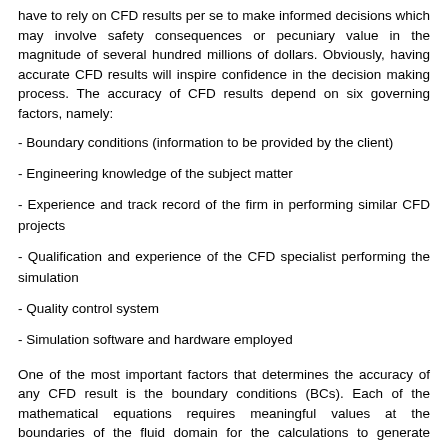have to rely on CFD results per se to make informed decisions which may involve safety consequences or pecuniary value in the magnitude of several hundred millions of dollars. Obviously, having accurate CFD results will inspire confidence in the decision making process. The accuracy of CFD results depend on six governing factors, namely:
- Boundary conditions (information to be provided by the client)
- Engineering knowledge of the subject matter
- Experience and track record of the firm in performing similar CFD projects
- Qualification and experience of the CFD specialist performing the simulation
- Quality control system
- Simulation software and hardware employed
One of the most important factors that determines the accuracy of any CFD result is the boundary conditions (BCs). Each of the mathematical equations requires meaningful values at the boundaries of the fluid domain for the calculations to generate reliable results. These numerical values are known as the boundary conditions and can be specified in several ways although in general the specification of multiphase phenomena or phenomena involving reactions is more complex than single phase phenomena. The use of wrong or